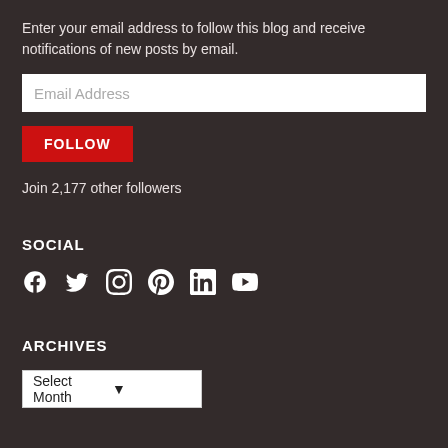Enter your email address to follow this blog and receive notifications of new posts by email.
Email Address
FOLLOW
Join 2,177 other followers
SOCIAL
[Figure (infographic): Social media icons: Facebook, Twitter, Instagram, Pinterest, LinkedIn, YouTube]
ARCHIVES
Select Month